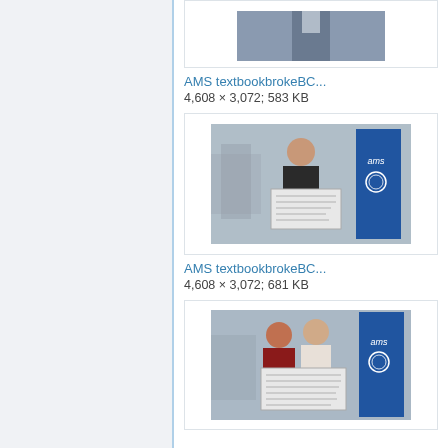[Figure (photo): Partial photo at top, cropped, showing a person outdoors near an AMS banner]
AMS textbookbrokeBC...
4,608 × 3,072; 583 KB
[Figure (photo): A woman standing outdoors holding a sign next to a blue AMS (Alma Mater Society) banner]
AMS textbookbrokeBC...
4,608 × 3,072; 681 KB
[Figure (photo): Two men standing outdoors holding a sign next to a blue AMS banner]